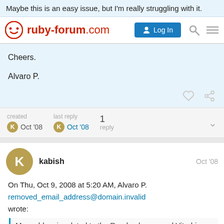Maybe this is an easy issue, but I'm really struggling with it.
[Figure (screenshot): ruby-forum.com navigation bar with logo, Log In button, search icon, and hamburger menu]
Cheers.

Alvaro P.
created K Oct '08   last reply K Oct '08   1 reply
kabish   Oct '08
On Thu, Oct 9, 2008 at 5:20 AM, Alvaro P.
removed_email_address@domain.invalid
wrote:
My problem is related to the Reed-solomon and Viterbi